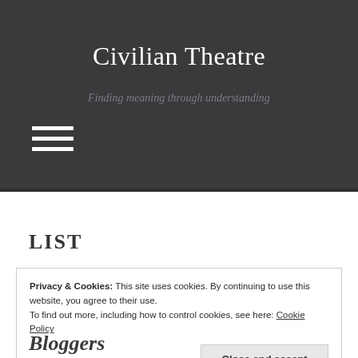Civilian Theatre
Finding meaning through understanding
[Figure (other): Hamburger menu icon with three horizontal white lines]
LIST
Privacy & Cookies: This site uses cookies. By continuing to use this website, you agree to their use.
To find out more, including how to control cookies, see here: Cookie Policy
Close and accept
Bloggers